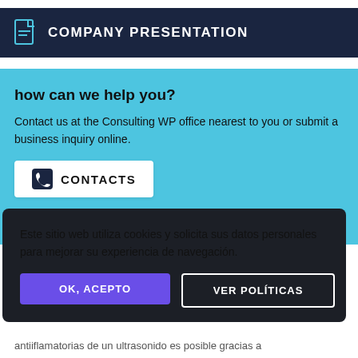COMPANY PRESENTATION
how can we help you?
Contact us at the Consulting WP office nearest to you or submit a business inquiry online.
[Figure (other): CONTACTS card with phone icon]
Este sitio web utiliza cookies y solicita sus datos personales para mejorar su experiencia de navegación.
OK, ACEPTO | VER POLÍTICAS
antiiflamatorias de un ultrasonido es posible gracias a